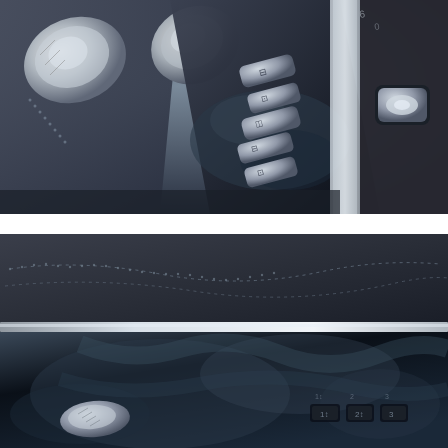[Figure (photo): Close-up interior photo of a car door panel showing silver/chrome window control switches, door handle area with glossy black trim, and a single window switch on the right side panel. The controls include multiple power window buttons with car icons etched on them.]
[Figure (photo): Close-up interior photo of a car door panel showing dark leather/leatherette trim with decorative stitching, a silver metallic trim strip, and a glossy black lower panel with a silver door handle and climate/seat controls visible in the lower right.]